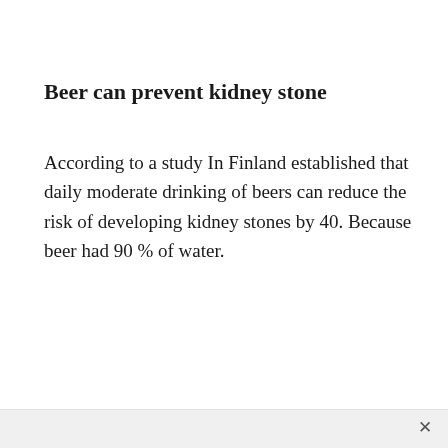Beer can prevent kidney stone
According to a study In Finland established that daily moderate drinking of beers can reduce the risk of developing kidney stones by 40. Because beer had 90 % of water.